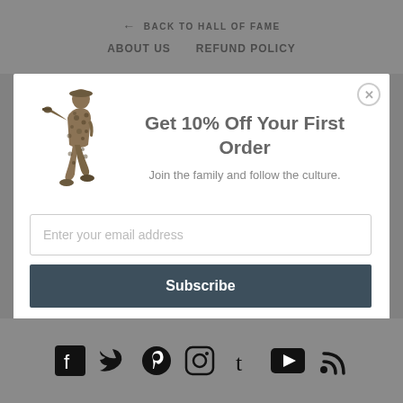← BACK TO HALL OF FAME
ABOUT US   REFUND POLICY
[Figure (illustration): Camouflage-patterned silhouette of a person in action pose, on white modal background]
Get 10% Off Your First Order
Join the family and follow the culture.
Enter your email address
Subscribe
Social media icons: Facebook, Twitter, Pinterest, Instagram, Tumblr, YouTube, RSS